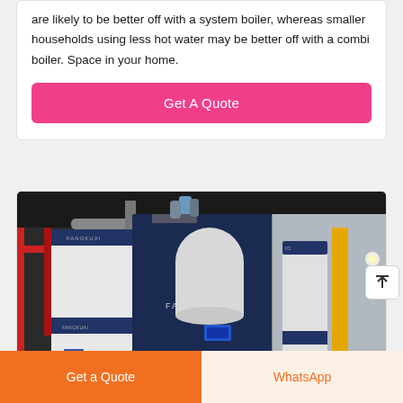are likely to be better off with a system boiler, whereas smaller households using less hot water may be better off with a combi boiler. Space in your home.
Get A Quote
[Figure (photo): Photo of large industrial boiler units branded FANGKUAI, installed in an industrial building. The units are tall white and dark navy blue cabinets with pipes and control panels visible.]
Get a Quote
WhatsApp